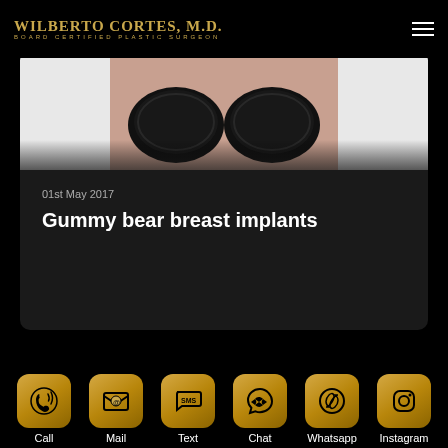WILBERTO CORTES, M.D. BOARD CERTIFIED PLASTIC SURGEON
[Figure (photo): Partial photo of a woman wearing a black lace bra, cropped showing chest area only, on a white background.]
01st May 2017
Gummy bear breast implants
Call
Mail
Text
Chat
Whatsapp
Instagram